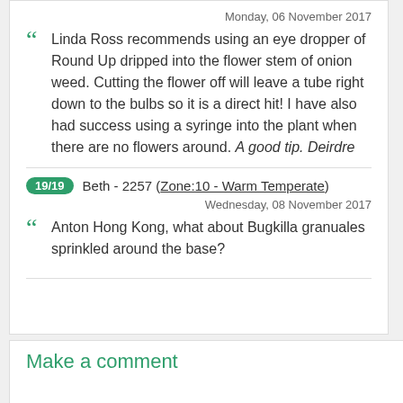Monday, 06 November 2017
Linda Ross recommends using an eye dropper of Round Up dripped into the flower stem of onion weed. Cutting the flower off will leave a tube right down to the bulbs so it is a direct hit! I have also had success using a syringe into the plant when there are no flowers around. A good tip. Deirdre
19/19  Beth - 2257 (Zone:10 - Warm Temperate)
Wednesday, 08 November 2017
Anton Hong Kong, what about Bugkilla granuales sprinkled around the base?
Make a comment